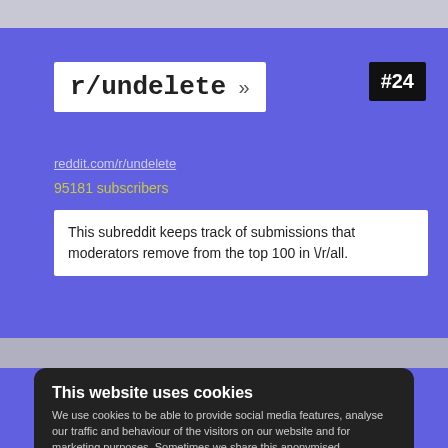r/undelete »
#24
reddit.com/r/undelete
95181 subscribers
This subreddit keeps track of submissions that moderators remove from the top 100 in /r/all.
This website uses cookies
We use cookies to be able to provide social media features, analyse our traffic and behaviour of the visitors on our website and for marketing purposes. Sometimes we share this anonymised information to 3rd party partner companies. More information
I accept all Cookies
Change settings
bros!